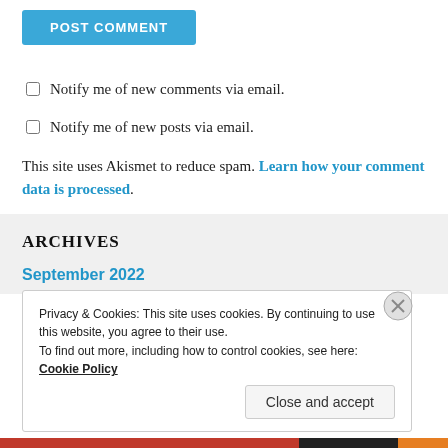[Figure (other): Blue POST COMMENT button at top of page]
Notify me of new comments via email.
Notify me of new posts via email.
This site uses Akismet to reduce spam. Learn how your comment data is processed.
ARCHIVES
September 2022
Privacy & Cookies: This site uses cookies. By continuing to use this website, you agree to their use. To find out more, including how to control cookies, see here: Cookie Policy
Close and accept